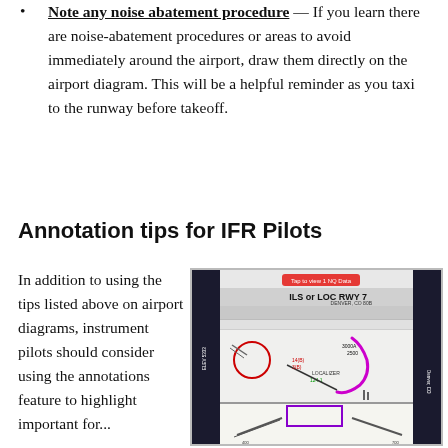Note any noise abatement procedure — If you learn there are noise-abatement procedures or areas to avoid immediately around the airport, draw them directly on the airport diagram. This will be a helpful reminder as you taxi to the runway before takeoff.
Annotation tips for IFR Pilots
In addition to using the tips listed above on airport diagrams, instrument pilots should consider using the annotations feature to highlight important for...
[Figure (screenshot): Screenshot of an IFR approach chart (ILS or LOC RWY 7) displayed in a mobile app, showing the approach plate with a pink/magenta path drawn on it and a circled airport diagram inset at the bottom.]